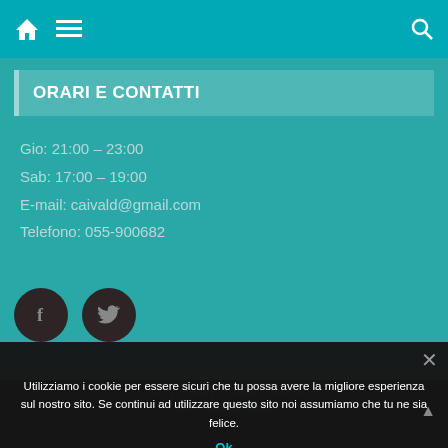Navigation bar with home, menu, and search icons
ORARI E CONTATTI
Gio: 21:00 – 23:00
Sab: 17:00 – 19:00
E-mail: caivald@gmail.com
Telefono: 055-900682
[Figure (other): Two circular dark social media buttons: Facebook (f) and Twitter (bird icon)]
Utilizziamo i cookie per essere sicuri che tu possa avere la migliore esperienza sul nostro sito. Se continui ad utilizzare questo sito noi assumiamo che tu ne sia felice.
Ok
Policy Privacy · Cookie · Web page by Simur